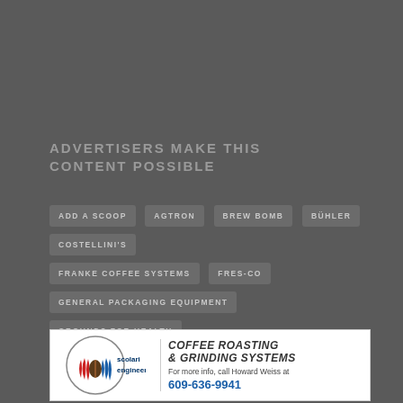ADVERTISERS MAKE THIS CONTENT POSSIBLE
ADD A SCOOP
AGTRON
BREW BOMB
BÜHLER
COSTELLINI'S
FRANKE COFFEE SYSTEMS
FRES-CO
GENERAL PACKAGING EQUIPMENT
GROUNDS FOR HEALTH
HUHTAMAKI
JAVA JACKET
TBO MARKETING
TEXPAK INC./SCOLARI ENGINEERING
[Figure (logo): Scolari Engineering advertisement with logo, company name, and contact info: COFFEE ROASTING & GRINDING SYSTEMS, For more info, call Howard Weiss at 609-636-9941]